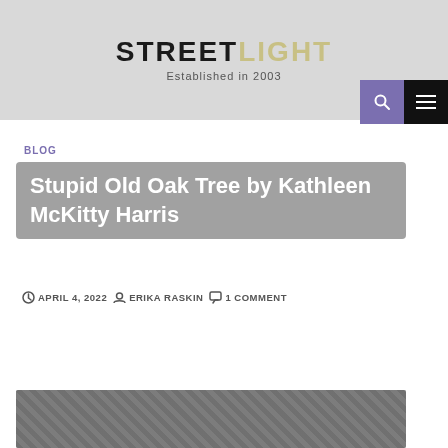STREETLIGHT — Established in 2003
BLOG
Stupid Old Oak Tree by Kathleen McKitty Harris
APRIL 4, 2022   ERIKA RASKIN   1 COMMENT
[Figure (photo): Partial photo strip visible at bottom of page, appears to be a black and white nature or tree image]